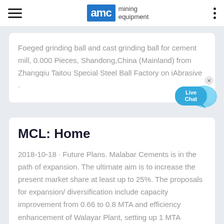AMC mining equipment
Foeged grinding ball and cast grinding ball for cement mill, 0.000 Pieces, Shandong,China (Mainland) from Zhangqiu Taitou Special Steel Ball Factory on iAbrasive .
[Figure (illustration): Live Chat speech bubble widget in blue]
MCL: Home
2018-10-18 · Future Plans. Malabar Cements is in the path of expansion. The ultimate aim is to increase the present market share at least up to 25%. The proposals for expansion/ diversification include capacity improvement from 0.66 to 0.8 MTA and efficiency enhancement of Walayar Plant, setting up 1 MTA additional grinding facility at